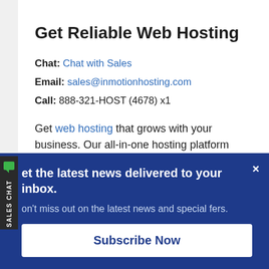Get Reliable Web Hosting
Chat: Chat with Sales
Email: sales@inmotionhosting.com
Call: 888-321-HOST (4678) x1
Get web hosting that grows with your business. Our all-in-one hosting platform gives you everything your website needs to scale, so you can
et the latest news delivered to your inbox.
on't miss out on the latest news and special fers.
Subscribe Now